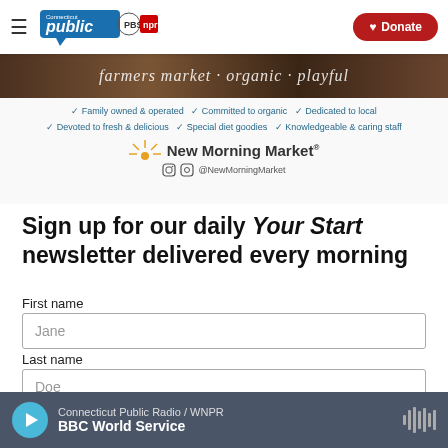Connecticut Public | PBS | NPR — Donate
[Figure (photo): New Morning Market advertisement with food image, checkmark bullet points about family owned organic local market, logo and social media handle @NewMorningMarket]
Sign up for our daily Your Start newsletter delivered every morning
First name
Jane
Last name
Doe
Email address
you@gmail.com
Connecticut Public Radio / WNPR — BBC World Service